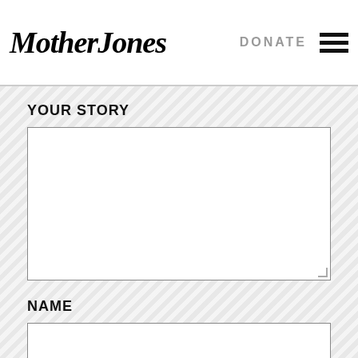Mother Jones   DONATE
YOUR STORY
[Figure (other): Large empty text input area for Your Story field]
NAME
[Figure (other): Empty text input area for Name field]